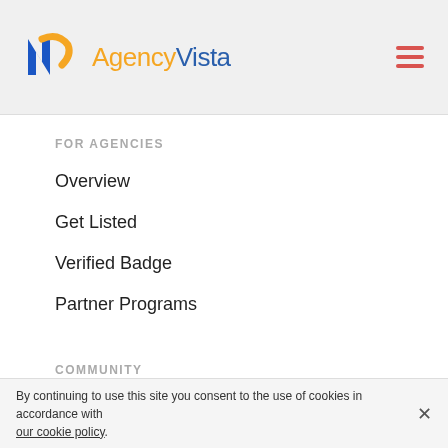AgencyVista
FOR AGENCIES
Overview
Get Listed
Verified Badge
Partner Programs
COMMUNITY
Agency Vista Hub
Best Marketing Events
Agency Experts
Guest Blogging
Community Guidelines
By continuing to use this site you consent to the use of cookies in accordance with our cookie policy.